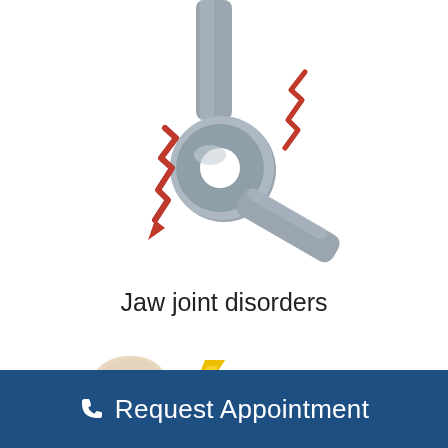[Figure (illustration): Medical illustration of a jaw joint (TMJ) shown as a gray mechanical joint with red zigzag lightning bolt pain indicators on both sides, representing jaw joint disorders. The joint has a cylindrical shape with a circular disc and extending arm.]
Jaw joint disorders
[Figure (illustration): Partial illustration showing a beige/cream colored ear or jaw bone shape with a yellow lightning bolt pain indicator, representing another view of jaw or ear pain.]
Request Appointment